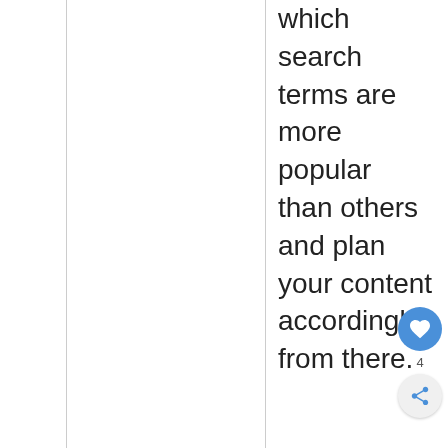which search terms are more popular than others and plan your content accordingly from there.